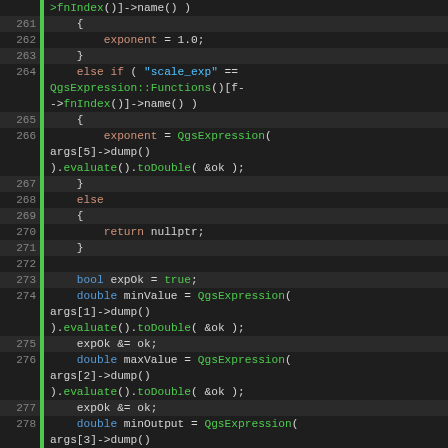[Figure (screenshot): Source code viewer showing C++ code lines 261-281 with syntax highlighting. Keywords in orange/blue, function names in green, strings in blue, on a dark background.]